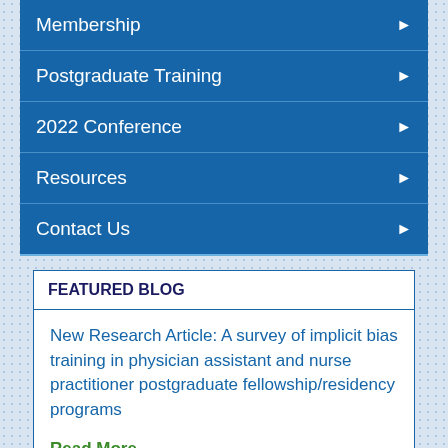Membership
Postgraduate Training
2022 Conference
Resources
Contact Us
FEATURED BLOG
New Research Article: A survey of implicit bias training in physician assistant and nurse practitioner postgraduate fellowship/residency programs
Read More